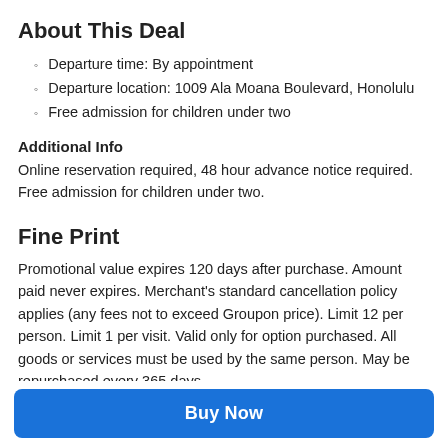About This Deal
Departure time: By appointment
Departure location: 1009 Ala Moana Boulevard, Honolulu
Free admission for children under two
Additional Info
Online reservation required, 48 hour advance notice required. Free admission for children under two.
Fine Print
Promotional value expires 120 days after purchase. Amount paid never expires. Merchant's standard cancellation policy applies (any fees not to exceed Groupon price). Limit 12 per person. Limit 1 per visit. Valid only for option purchased. All goods or services must be used by the same person. May be repurchased every 365 days.
Buy Now